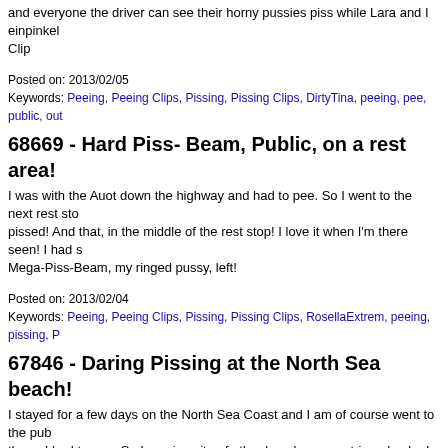and everyone the driver can see their horny pussies piss while Lara and I einpinkel Clip
Posted on: 2013/02/05
Keywords: Peeing, Peeing Clips, Pissing, Pissing Clips, DirtyTina, peeing, pee, public, out
68669 - Hard Piss- Beam, Public, on a rest area!
I was with the Auot down the highway and had to pee. So I went to the next rest sto pissed! And that, in the middle of the rest stop! I love it when I'm there seen! I had s Mega-Piss-Beam, my ringed pussy, left!
Posted on: 2013/02/04
Keywords: Peeing, Peeing Clips, Pissing, Pissing Clips, RosellaExtrem, peeing, pissing, P
67846 - Daring Pissing at the North Sea beach!
I stayed for a few days on the North Sea Coast and I am of course went to the pub there, I had to pee. So I am, in spite of other beach goers, stripped naked and I sim in the sand! Wanted me not, pissed my clothes full! People might have watched, I d
Posted on: 2013/02/02
Keywords: Peeing, Peeing Clips, Pissing, Pissing Clips, RosellaExtrem, peeing, pissing, P
67957 - That was close!!!
I was at night by car down the highway when I was caught in a traffic jam and was this case I had to pee urgently. When the jam was over, I quickly moved to the next toilets and because I could not keep it and I would have peed almost in the pants, I pulled down the pants and in a squatting position , front of the cottage, Pissed. In th the tapes, of my anal beads, which I had in the ass, hanging out of my asshole!